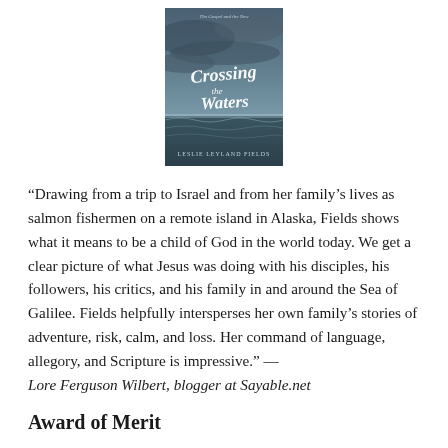[Figure (illustration): Book cover of 'Crossing the Waters' by Leslie Leyland Fields, featuring a dramatic stormy sea scene with the title in stylized white script lettering against a dark blue-grey sky and water background.]
“Drawing from a trip to Israel and from her family’s lives as salmon fishermen on a remote island in Alaska, Fields shows what it means to be a child of God in the world today. We get a clear picture of what Jesus was doing with his disciples, his followers, his critics, and his family in and around the Sea of Galilee. Fields helpfully intersperses her own family’s stories of adventure, risk, calm, and loss. Her command of language, allegory, and Scripture is impressive.” — Lore Ferguson Wilbert, blogger at Sayable.net
Award of Merit